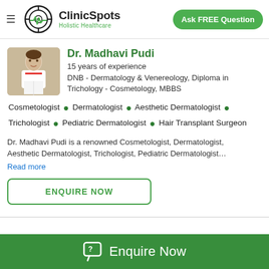ClinicSpots — Holistic Healthcare | Ask FREE Question
Dr. Madhavi Pudi
15 years of experience
DNB - Dermatology & Venereology, Diploma in Trichology - Cosmetology, MBBS
Cosmetologist • Dermatologist • Aesthetic Dermatologist • Trichologist • Pediatric Dermatologist • Hair Transplant Surgeon
Dr. Madhavi Pudi is a renowned Cosmetologist, Dermatologist, Aesthetic Dermatologist, Trichologist, Pediatric Dermatologist…
Read more
ENQUIRE NOW
Enquire Now